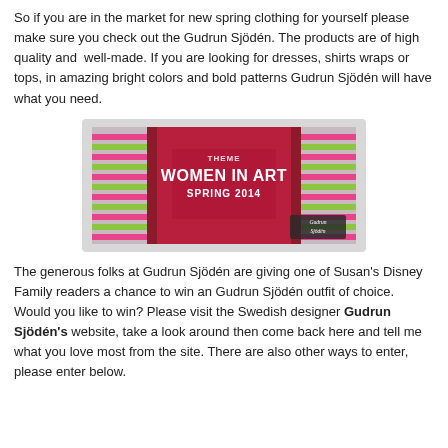So if you are in the market for new spring clothing for yourself please make sure you check out the Gudrun Sjödén. The products are of high quality and well-made. If you are looking for dresses, shirts wraps or tops, in amazing bright colors and bold patterns Gudrun Sjödén will have what you need.
[Figure (photo): Advertisement banner for Gudrun Sjödén spring 2014 collection — 'Theme: Women In Art Spring 2014' — showing colorful striped clothing in pink, green and red tones with the Gudrun Sjödén signature logo in the bottom right corner.]
The generous folks at Gudrun Sjödén are giving one of Susan's Disney Family readers a chance to win an Gudrun Sjödén outfit of choice. Would you like to win? Please visit the Swedish designer Gudrun Sjödén's website, take a look around then come back here and tell me what you love most from the site. There are also other ways to enter, please enter below.